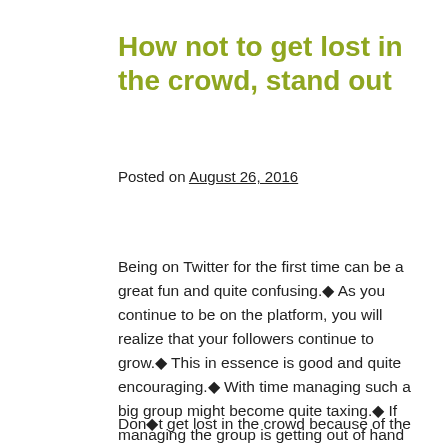How not to get lost in the crowd, stand out
Posted on August 26, 2016
Being on Twitter for the first time can be a great fun and quite confusing.◆ As you continue to be on the platform, you will realize that your followers continue to grow.◆ This in essence is good and quite encouraging.◆ With time managing such a big group might become quite taxing.◆ If managing the group is getting out of hand then it is time to get organized.◆ Organize your followers in groups. This will make it easier for you to know each time you receive Twitter likes.
Don◆t get lost in the crowd because of the